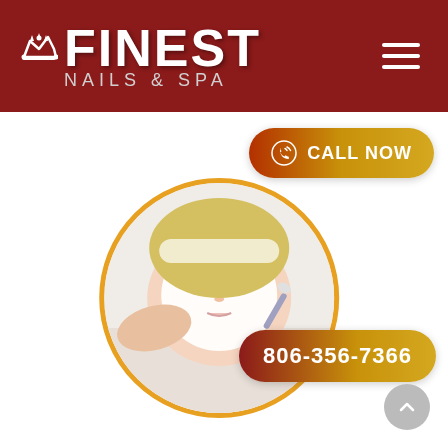[Figure (logo): Finest Nails & Spa logo with crown icon on dark red header bar]
[Figure (other): Call Now button with phone icon, gradient from dark red to gold]
[Figure (photo): Circular photo of woman receiving facial treatment with white mask, gold circular border]
806-356-7366
[Figure (other): Scroll to top circular button (gray with up arrow)]